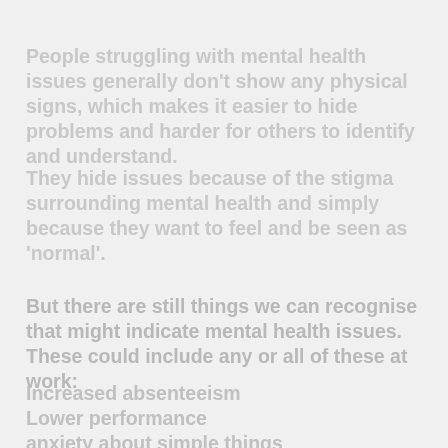People struggling with mental health issues generally don't show any physical signs, which makes it easier to hide problems and harder for others to identify and understand.
They hide issues because of the stigma surrounding mental health and simply because they want to feel and be seen as 'normal'.
But there are still things we can recognise that might indicate mental health issues. These could include any or all of these at work:
Increased absenteeism
Lower performance
anxiety about simple things
Changes in social interaction
Persistent tiredness
Changes in the personality